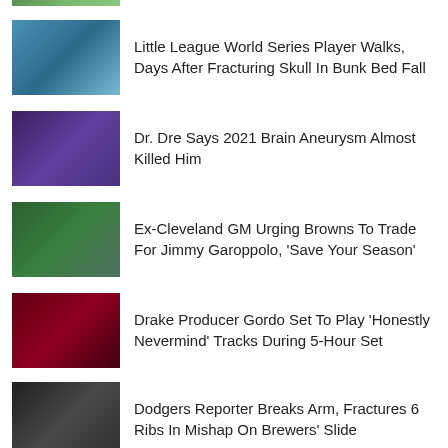[Figure (photo): Partial thumbnail of a photo at top of page, cropped]
Little League World Series Player Walks, Days After Fracturing Skull In Bunk Bed Fall
Dr. Dre Says 2021 Brain Aneurysm Almost Killed Him
Ex-Cleveland GM Urging Browns To Trade For Jimmy Garoppolo, 'Save Your Season'
Drake Producer Gordo Set To Play 'Honestly Nevermind' Tracks During 5-Hour Set
Dodgers Reporter Breaks Arm, Fractures 6 Ribs In Mishap On Brewers' Slide